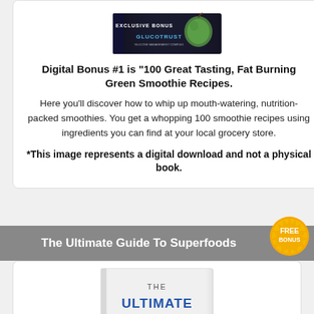[Figure (illustration): Dark book cover showing 'EXCLUSIVE BONUS' and 'GLUCOTRUST' text with a green apple image]
Digital Bonus #1 is "100 Great Tasting, Fat Burning Green Smoothie Recipes.
Here you'll discover how to whip up mouth-watering, nutrition-packed smoothies. You get a whopping 100 smoothie recipes using ingredients you can find at your local grocery store.
*This image represents a digital download and not a physical book.
The Ultimate Guide To Superfoods
[Figure (illustration): White book with 'THE ULTIMATE' text visible, partially cropped]